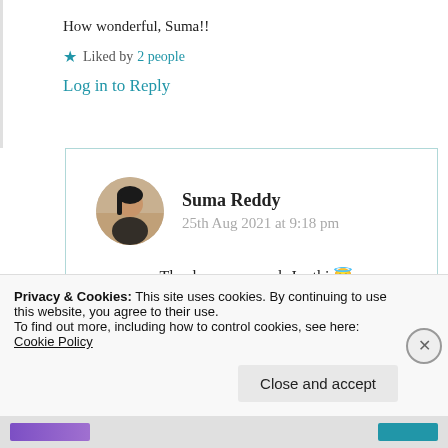How wonderful, Suma!!
★ Liked by 2 people
Log in to Reply
Suma Reddy
25th Aug 2021 at 9:18 pm
Thank you so much Jyothi 😇
Privacy & Cookies: This site uses cookies. By continuing to use this website, you agree to their use.
To find out more, including how to control cookies, see here: Cookie Policy
Close and accept